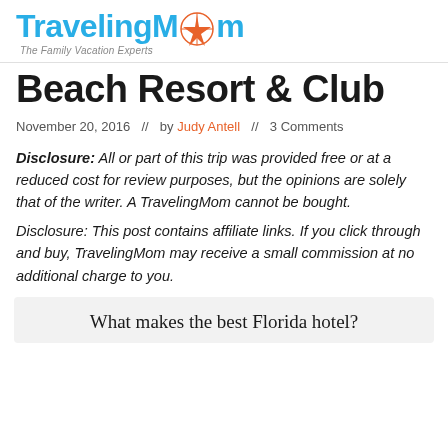[Figure (logo): TravelingMom logo with compass star and tagline 'The Family Vacation Experts']
Beach Resort & Club
November 20, 2016  //  by Judy Antell  //  3 Comments
Disclosure: All or part of this trip was provided free or at a reduced cost for review purposes, but the opinions are solely that of the writer. A TravelingMom cannot be bought.
Disclosure: This post contains affiliate links. If you click through and buy, TravelingMom may receive a small commission at no additional charge to you.
What makes the best Florida hotel?